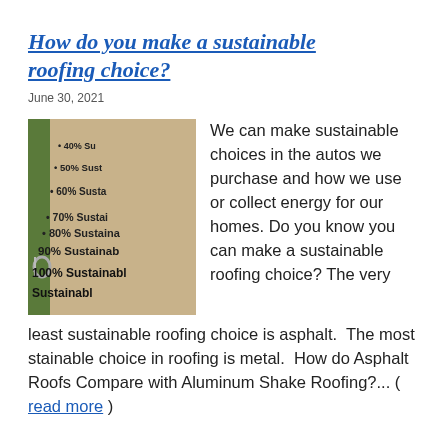How do you make a sustainable roofing choice?
June 30, 2021
[Figure (photo): Close-up photo of a binder or notebook page with bullet points listing sustainability percentages: 40% Su..., 50% Sust..., 60% Susta..., 70% Sustai..., 80% Sustain..., 90% Sustainab..., 100% Sustainabl..., with a metal ring binder clip visible on the left side]
We can make sustainable choices in the autos we purchase and how we use or collect energy for our homes. Do you know you can make a sustainable roofing choice? The very least sustainable roofing choice is asphalt.  The most stainable choice in roofing is metal.  How do Asphalt Roofs Compare with Aluminum Shake Roofing?... ( read more )